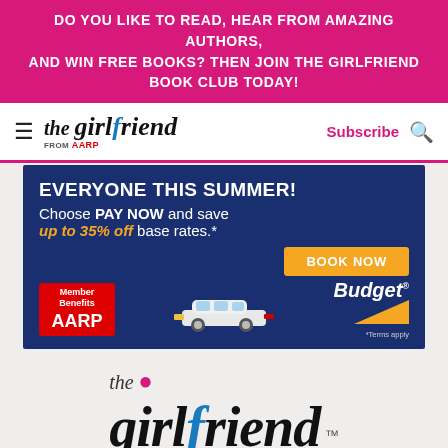DO YOU LIKE TO READ, HEAR FROM AMAZING AUTHORS, AND WIN FREE BOOKS? THEN JOIN THE GIRLFRIEND BOOK CLUB TODAY!
[Figure (logo): The Girlfriend from AARP logo with hamburger menu, Subscribe link, and search icon in navigation bar]
[Figure (infographic): Budget car rental advertisement on navy blue background: 'EVERYONE THIS SUMMER! Choose PAY NOW and save up to 35% off base rates.* BOOK NOW button. Shows AARP Member Benefits badge, white SUV car, Budget logo with orange arrow. *Terms apply.]
[Figure (logo): The Girlfriend large logo text at bottom of page]